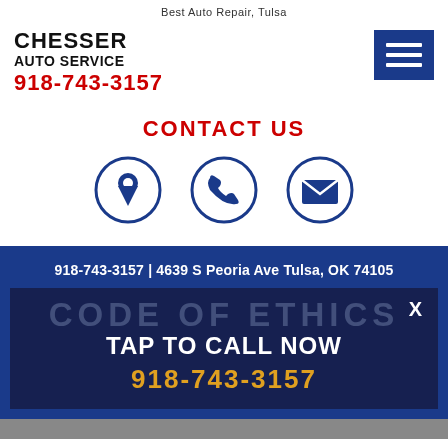Best Auto Repair, Tulsa
CHESSER AUTO SERVICE 918-743-3157
[Figure (infographic): Blue hamburger menu icon (three horizontal white lines on blue background)]
CONTACT US
[Figure (infographic): Three contact icons in blue circles: location pin, telephone, and envelope/mail]
918-743-3157 | 4639 S Peoria Ave Tulsa, OK 74105
CODE OF ETHICS
TAP TO CALL NOW
918-743-3157